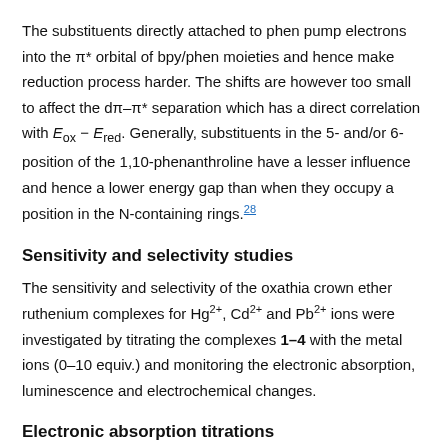The substituents directly attached to phen pump electrons into the π* orbital of bpy/phen moieties and hence make reduction process harder. The shifts are however too small to affect the dπ–π* separation which has a direct correlation with E_ox − E_red. Generally, substituents in the 5- and/or 6-position of the 1,10-phenanthroline have a lesser influence and hence a lower energy gap than when they occupy a position in the N-containing rings.28
Sensitivity and selectivity studies
The sensitivity and selectivity of the oxathia crown ether ruthenium complexes for Hg2+, Cd2+ and Pb2+ ions were investigated by titrating the complexes 1–4 with the metal ions (0–10 equiv.) and monitoring the electronic absorption, luminescence and electrochemical changes.
Electronic absorption titrations